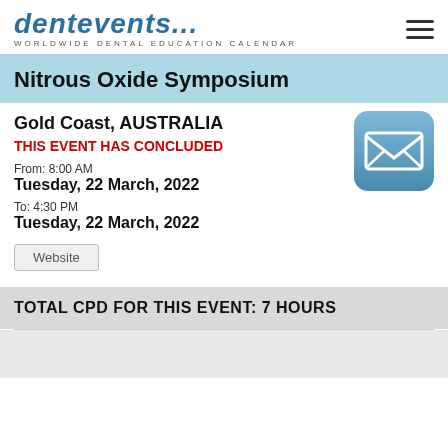dentevents... WORLDWIDE DENTAL EDUCATION CALENDAR
Nitrous Oxide Symposium
Gold Coast, AUSTRALIA
THIS EVENT HAS CONCLUDED
From: 8:00 AM
Tuesday, 22 March, 2022
To: 4:30 PM
Tuesday, 22 March, 2022
[Figure (illustration): Blue rounded square icon with white envelope/mail symbol]
Website
TOTAL CPD FOR THIS EVENT: 7 HOURS